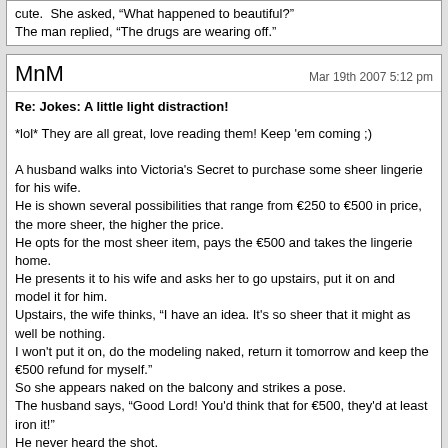cute.  She asked, "What happened to beautiful?"
The man replied, "The drugs are wearing off."
MnM
Mar 19th 2007 5:12 pm
Re: Jokes: A little light distraction!
*lol* They are all great, love reading them! Keep 'em coming ;)

A husband walks into Victoria's Secret to purchase some sheer lingerie for his wife.
He is shown several possibilities that range from €250 to €500 in price, the more sheer, the higher the price.
He opts for the most sheer item, pays the €500 and takes the lingerie home.
He presents it to his wife and asks her to go upstairs, put it on and model it for him.
Upstairs, the wife thinks, "I have an idea. It's so sheer that it might as well be nothing.
I won't put it on, do the modeling naked, return it tomorrow and keep the €500 refund for myself."
So she appears naked on the balcony and strikes a pose.
The husband says, "Good Lord! You'd think that for €500, they'd at least iron it!"
He never heard the shot.
The funeral is on Thursday.
chrisw
Mar 19th 2007 11:33 pm